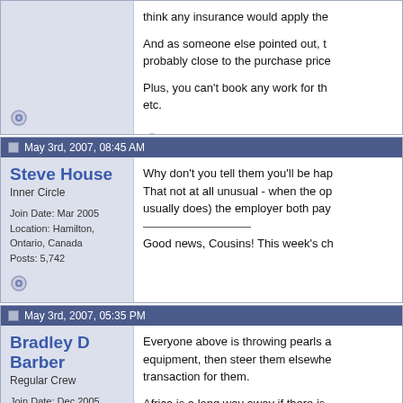think any insurance would apply the

And as someone else pointed out, probably close to the purchase price.

Plus, you can't book any work for the etc.
May 3rd, 2007, 08:45 AM
Steve House
Inner Circle
Join Date: Mar 2005
Location: Hamilton, Ontario, Canada
Posts: 5,742
Why don't you tell them you'll be happy. That not at all unusual - when the op usually does) the employer both pay.

Good news, Cousins! This week's ch
May 3rd, 2007, 05:35 PM
Bradley D Barber
Regular Crew
Join Date: Dec 2005
Location: Washington
Posts: 117
Everyone above is throwing pearls a equipment, then steer them elsewhere transaction for them.

Africa is a long way away if there is